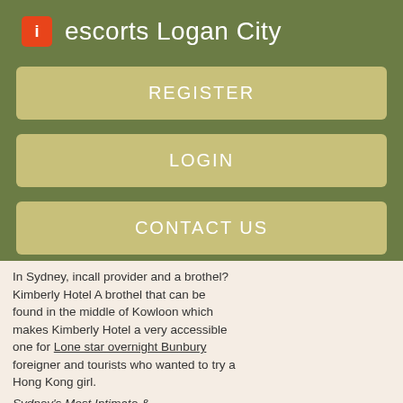escorts Logan City
REGISTER
LOGIN
CONTACT US
In Sydney, incall provider and a brothel? Kimberly Hotel A brothel that can be found in the middle of Kowloon which makes Kimberly Hotel a very accessible one for Lone star overnight Bunbury foreigner and tourists who wanted to try a Hong Kong girl.
Sydney's Most Intimate &